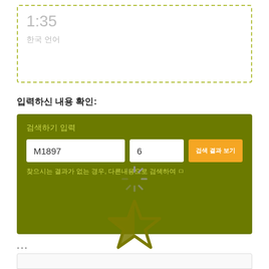1:35
한국 언어
입력하신 내용 확인:
[Figure (screenshot): Green panel UI showing a search/lookup form with a text input containing 'M1897', a number input showing '6', an orange action button with Korean text, helper text in Korean below the inputs, and a loading spinner in the center]
...
[Figure (illustration): A single star outline icon in olive/dark yellow color, partially filled]